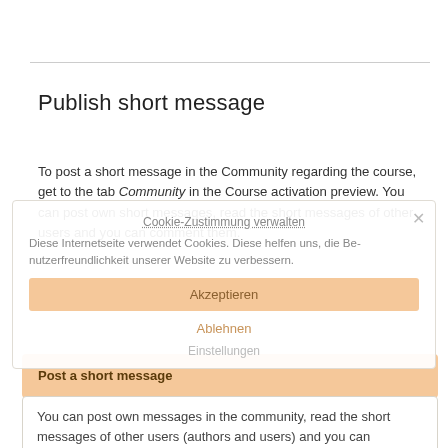Publish short message
To post a short message in the Community regarding the course, get to the tab Community in the Course activation preview. You can post own short messages, read the short messages of other users and you can comment them.
[Figure (screenshot): Cookie consent overlay popup with title 'Cookie-Zustimmung verwalten', body text about cookies, Akzeptieren (Accept) button, Ablehnen (Reject) button, Einstellungen (Settings) link, and a close X button]
Post a short message
You can post own messages in the community, read the short messages of other users (authors and users) and you can comment them. Thus an exchange of experiences is possible. To post a new message, enter the text in the text field.